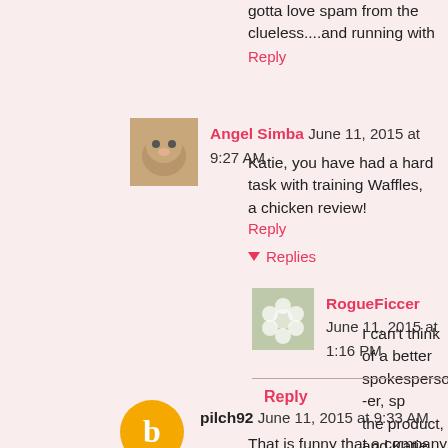gotta love spam from the clueless....and running with
Reply
Angel Simba June 11, 2015 at 9:27 AM
Katie, you have had a hard task with training Waffles, a chicken review!
Reply
Replies
RogueFiccer June 11, 2015 at 1:16 PM
I can't think of a better spokesperson--er, sp the product, and Katie would bring all the polis
Reply
pilch92 June 11, 2015 at 9:33 AM
That is funny that a company sent you glasses, they d